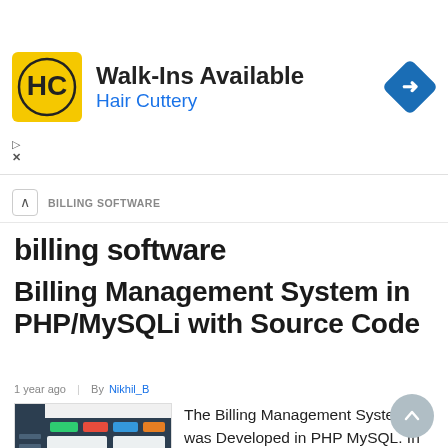[Figure (other): Advertisement banner for Hair Cuttery showing logo, 'Walk-Ins Available' text, and a navigation/directions icon]
BILLING SOFTWARE
billing software
Billing Management System in PHP/MySQLi with Source Code
1 year ago  |  By Nikhil_B
[Figure (screenshot): Screenshot of the Billing Management System PHP dashboard with dark sidebar and colorful header elements]
The Billing Management System was Developed in PHP MySQL. In this simple project, the main